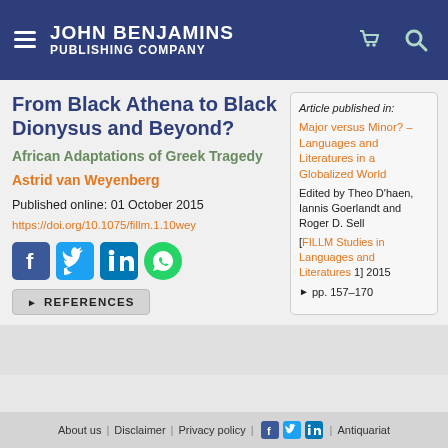JOHN BENJAMINS PUBLISHING COMPANY
From Black Athena to Black Dionysus and Beyond?
African Adaptations of Greek Tragedy
Astrid van Weyenberg
Published online: 01 October 2015
https://doi.org/10.1075/fillm.1.10wey
Article published in: Major versus Minor? – Languages and Literatures in a Globalized World Edited by Theo D'haen, Iannis Goerlandt and Roger D. Sell [FILLM Studies in Languages and Literatures 1] 2015 ► pp. 157–170
About us | Disclaimer | Privacy policy | Antiquariat